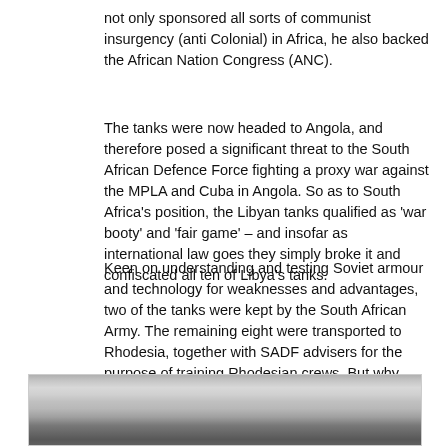not only sponsored all sorts of communist insurgency (anti Colonial) in Africa, he also backed the African Nation Congress (ANC).
The tanks were now headed to Angola, and therefore posed a significant threat to the South African Defence Force fighting a proxy war against the MPLA and Cuba in Angola. So as to South Africa's position, the Libyan tanks qualified as 'war booty' and 'fair game' – and insofar as international law goes they simply broke it and confiscated all ten of Libya's tanks.
Keen on understanding and testing Soviet armour and technology for weaknesses and advantages, two of the tanks were kept by the South African Army. The remaining eight were transported to Rhodesia, together with SADF advisers for the purpose of training Rhodesian crews.  But why Rhodesia?
[Figure (photo): Black and white photograph showing what appears to be an interior scene with curtains or drapes visible, and a partial view of a person's head in the lower right.]